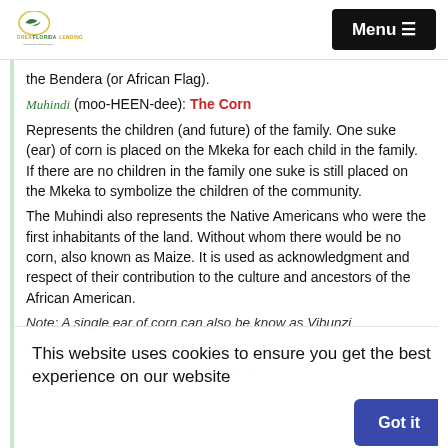Great Florida Lending — Menu
the Bendera (or African Flag).
Muhindi (moo-HEEN-dee): The Corn
Represents the children (and future) of the family. One suke (ear) of corn is placed on the Mkeka for each child in the family. If there are no children in the family one suke is still placed on the Mkeka to symbolize the children of the community.
The Muhindi also represents the Native Americans who were the first inhabitants of the land. Without whom there would be no corn, also known as Maize. It is used as acknowledgment and respect of their contribution to the culture and ancestors of the African American.
Note: A single ear of corn can also be know as Vibunzi
Kwanzaa gifts given to children that will make them people. The gifts should always include a book, vi...
This website uses cookies to ensure you get the best experience on our website
Got it